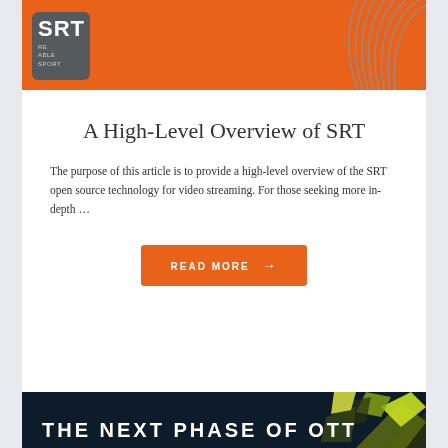[Figure (logo): SRT logo on orange banner background with circular pattern decorations on the right]
A High-Level Overview of SRT
The purpose of this article is to provide a high-level overview of the SRT open source technology for video streaming. For those seeking more in-depth …
[Figure (other): READ MORE button with arrow]
[Figure (illustration): Dark navy banner with geometric polygon shapes and text THE NEXT PHASE OF OTT]